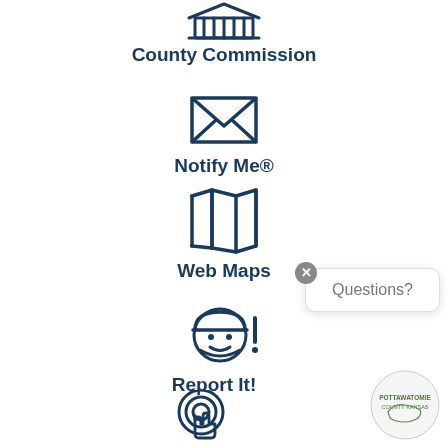[Figure (illustration): County Commission icon - outline of a government/courthouse building with columns]
County Commission
[Figure (illustration): Envelope/mail icon for Notify Me feature]
Notify Me®
[Figure (illustration): Folded map icon for Web Maps feature]
Web Maps
[Figure (illustration): Worker/technician icon with hard hat and exclamation mark for Report It feature]
Report It!
[Figure (illustration): Finger/cursor clicking icon at bottom]
[Figure (illustration): Questions? chat bubble popup with close button]
[Figure (logo): Pottawatomie County circular logo]